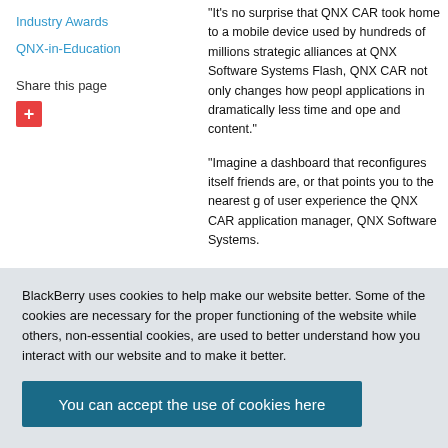Industry Awards
QNX-in-Education
Share this page
"It's no surprise that QNX CAR took home to a mobile device used by hundreds of millions strategic alliances at QNX Software Systems Flash, QNX CAR not only changes how peopl applications in dramatically less time and ope and content."
"Imagine a dashboard that reconfigures itself friends are, or that points you to the nearest g of user experience the QNX CAR application manager, QNX Software Systems.
Launched in February 2009, the QNX CAR a vehicles and has attracted more than 50 tech Daimler, Delphi, Freescale, General Motors, G and Volkswagen. Also at this week's Adobe M outfitted with four infotainment systems bas
BlackBerry uses cookies to help make our website better. Some of the cookies are necessary for the proper functioning of the website while others, non-essential cookies, are used to better understand how you interact with our website and to make it better.
You can accept the use of cookies here